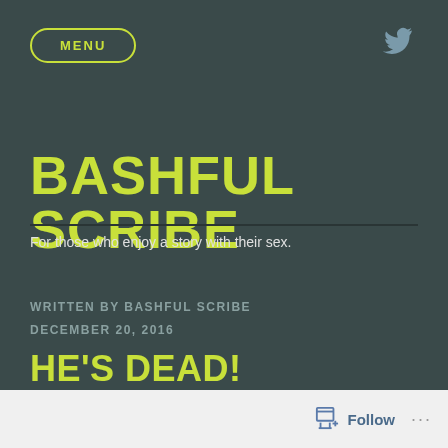MENU
BASHFUL SCRIBE
For those who enjoy a story with their sex.
WRITTEN BY BASHFUL SCRIBE
DECEMBER 20, 2016
HE'S DEAD!
Follow ...